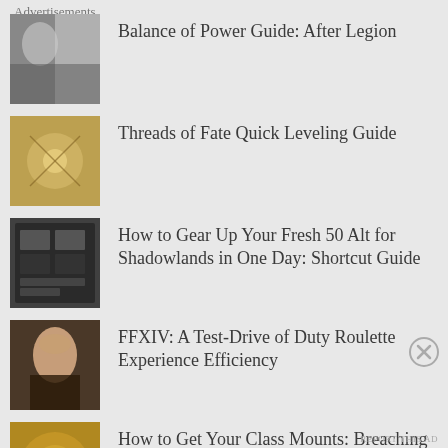Balance of Power Guide: After Legion
Threads of Fate Quick Leveling Guide
How to Gear Up Your Fresh 50 Alt for Shadowlands in One Day: Shortcut Guide
FFXIV: A Test-Drive of Duty Roulette Experience Efficiency
How to Get Your Class Mounts: Breaching the Tomb Guide
FFXIV Black Mage: Basics Guide for Dummies
Advertisements